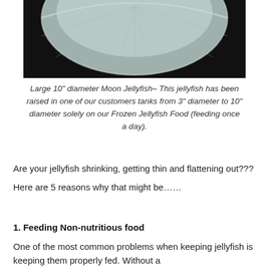[Figure (photo): Close-up photograph of a large Moon Jellyfish viewed from above, showing translucent bluish-white bell with radiating patterns, against a dark background.]
Large 10" diameter Moon Jellyfish– This jellyfish has been raised in one of our customers tanks from 3" diameter to 10" diameter solely on our Frozen Jellyfish Food (feeding once a day).
Are your jellyfish shrinking, getting thin and flattening out???
Here are 5 reasons why that might be……
1. Feeding Non-nutritious food
One of the most common problems when keeping jellyfish is keeping them properly fed. Without a